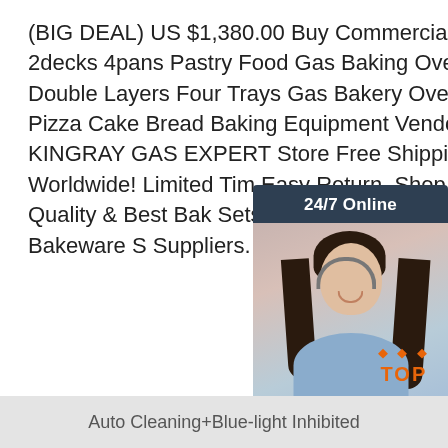(BIG DEAL) US $1,380.00 Buy Commercial 2decks 4pans Pastry Food Gas Baking Oven, Double Layers Four Trays Gas Bakery Oven, Pizza Cake Bread Baking Equipment Vendor KINGRAY GAS EXPERT Store Free Shipping Worldwide! Limited Time Easy Return. Shop Quality & Best Bakeware Sets Directly From China Bakeware Sets Suppliers.
[Figure (other): Customer service chat widget showing a woman with headset, '24/7 Online' header, 'Click here for free chat!' text, and an orange QUOTATION button, on dark navy background.]
Get Price
[Figure (other): Orange 'TOP' button with upward-pointing arrow dots, indicating scroll to top.]
Auto Cleaning+Blue-light Inhibited